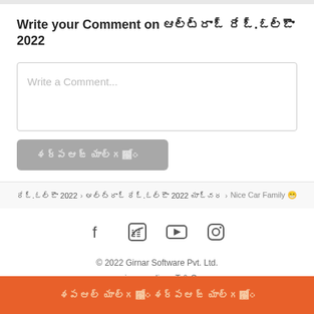Write your Comment on ఆల్ట్రోజ్ రేజ్.టర్బో 2022
[Figure (screenshot): Comment input text field with placeholder text 'Write a Comment...']
[Figure (screenshot): Grey submit button with text in Telugu script]
రేజ్.టర్బో 2022 > ఆల్ట్రోజ్ రేజ్.టర్బో 2022 యూజర్ రివ్యూ > Nice Car Family
[Figure (infographic): Social media icons: Facebook, Twitter, YouTube, Instagram]
© 2022 Girnar Software Pvt. Ltd.
privacy policy • T & C
Button: Telugu script CTA button in orange